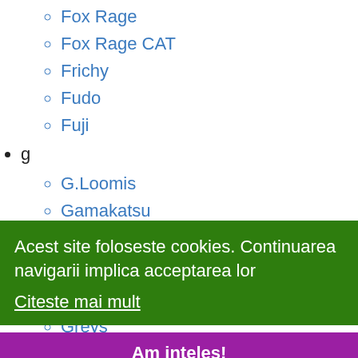Fox Rage
Fox Rage CAT
Frichy
Fudo
Fuji
g
G.Loomis
Gamakatsu
Gambler
Gan Craft
Garbolino
Gardner Tackle
Acest site foloseste cookies. Continuarea navigarii implica acceptarea lor
Citeste mai mult
Am inteles!
Greys